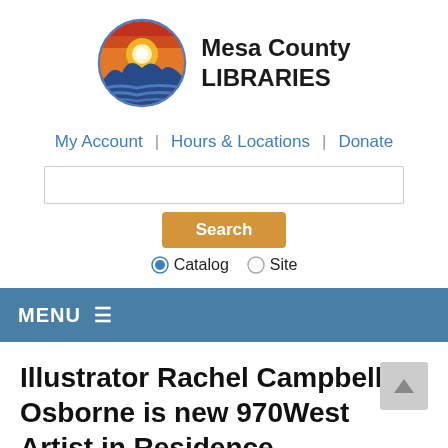[Figure (logo): Mesa County Libraries logo: circular emblem with red/orange/yellow gradient sky, white sun, blue mountain silhouette with wave stripes, with bold text 'Mesa County LIBRARIES' to the right]
My Account | Hours & Locations | Donate
Illustrator Rachel Campbell Osborne is new 970West Artist in Residence
Posted on May 21, 2021 by Bob